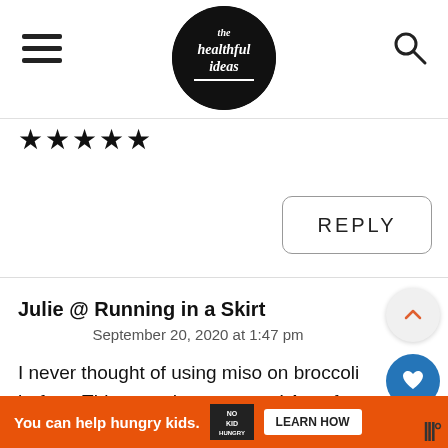[Figure (logo): The Healthful Ideas blog logo — black circle with white handwritten text 'the healthful ideas']
★★★★★
REPLY
Julie @ Running in a Skirt
September 20, 2020 at 1:47 pm
I never thought of using miso on broccoli before. This turned out so tasty! A perfect side dish and I will make
You can help hungry kids.
LEARN HOW